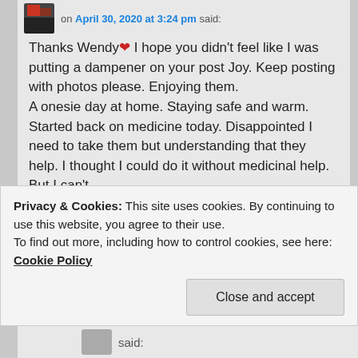on April 30, 2020 at 3:24 pm said:
Thanks Wendy ❤ I hope you didn't feel like I was putting a dampener on your post Joy. Keep posting with photos please. Enjoying them.
A onesie day at home. Staying safe and warm.
Started back on medicine today. Disappointed I need to take them but understanding that they help. I thought I could do it without medicinal help. But I can't.
Privacy & Cookies: This site uses cookies. By continuing to use this website, you agree to their use.
To find out more, including how to control cookies, see here: Cookie Policy
Close and accept
said: